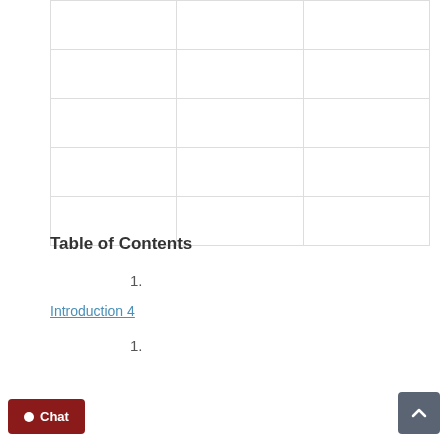|  |  |  |
|  |  |  |
|  |  |  |
|  |  |  |
|  |  |  |
Table of Contents
1.
Introduction 4
1.